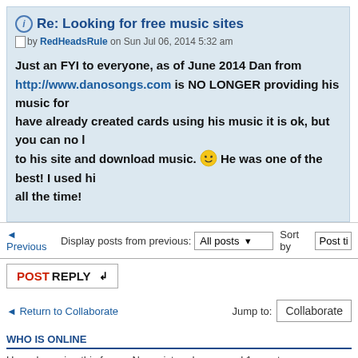Re: Looking for free music sites
by RedHeadsRule on Sun Jul 06, 2014 5:32 am
Just an FYI to everyone, as of June 2014 Dan from http://www.danosongs.com is NO LONGER providing his music for free. If you have already created cards using his music it is ok, but you can no longer go to his site and download music. He was one of the best! I used his music all the time!
Display posts from previous: All posts  Sort by  Post time
POSTREPLY
Return to Collaborate
Jump to: Collaborate
WHO IS ONLINE
Users browsing this forum: No registered users and 1 guest
Board index
Copyright © 123Greetings.com, Inc. All rights reserved. Privacy P